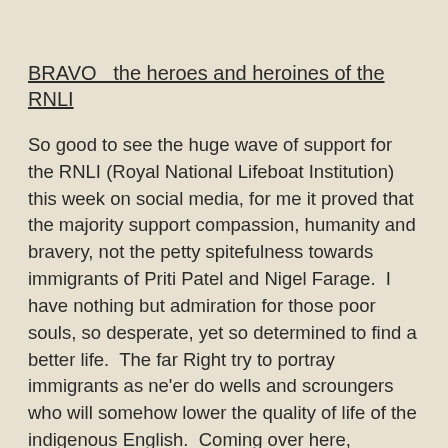BRAVO   the heroes and heroines of the RNLI
So good to see the huge wave of support for the RNLI (Royal National Lifeboat Institution) this week on social media, for me it proved that the majority support compassion, humanity and bravery, not the petty spitefulness towards immigrants of Priti Patel and Nigel Farage.  I have nothing but admiration for those poor souls, so desperate, yet so determined to find a better life.  The far Right try to portray immigrants as ne'er do wells and scroungers who will somehow lower the quality of life of the indigenous English.  Coming over here, opening new business (when did a local start a new business in his/her err, locality?), with their working every hour under the sun ethics and their crazy ideas that this is a land of